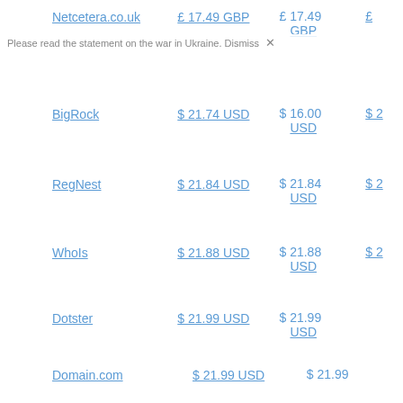Netcetera.co.uk   £ 17.49 GBP   £ 17.49 GBP   £...
Please read the statement on the war in Ukraine. Dismiss ×
BigRock   $ 21.74 USD   $ 16.00 USD   $ 2...
RegNest   $ 21.84 USD   $ 21.84 USD   $ 2...
WhoIs   $ 21.88 USD   $ 21.88 USD   $ 2...
Dotster   $ 21.99 USD   $ 21.99 USD
Domain.com   $ 21.99 USD   $ 21.99 USD
Hover   $ 21.99 USD   $ 21.99 USD   $ 2...
NetFirms   $ 21.99 USD   $ 21.99